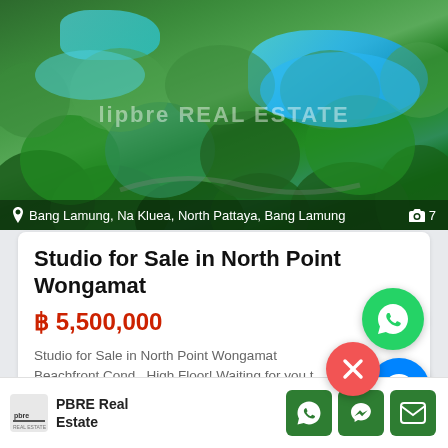[Figure (photo): Aerial view of tropical resort with lush green trees and a blue swimming pool, with watermark 'lipbre REAL ESTATE']
Bang Lamung, Na Kluea, North Pattaya, Bang Lamung  📷 7
Studio for Sale in North Point Wongamat
฿ 5,500,000
Studio for Sale in North Point Wongamat Beachfront Condo High Floor! Waiting for you t [more]
Studio  1  52.00 m²
[Figure (logo): PBRE Real Estate logo]
PBRE Real Estate